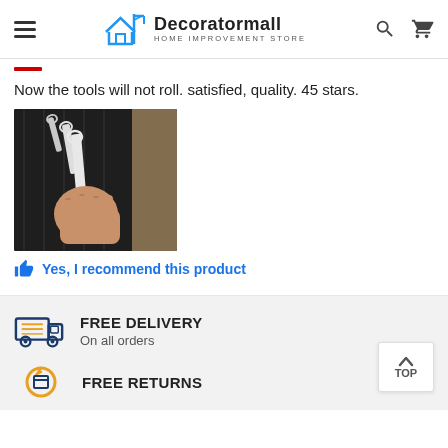Decoratormall HOME IMPROVEMENT STORE
Now the tools will not roll. satisfied, quality. 45 stars.
[Figure (photo): A tool roll organizer with wrenches/spanners arranged in pockets, with a hand holding the roll open, displayed against a brick wall background.]
Yes, I recommend this product
FREE DELIVERY
On all orders
FREE RETURNS